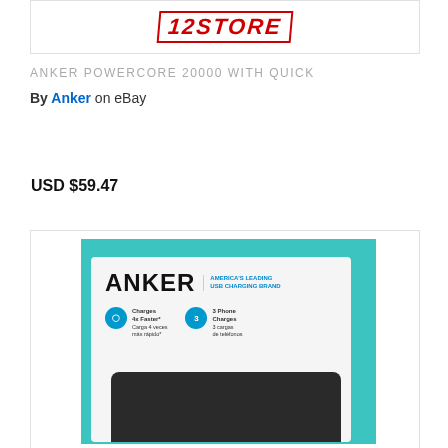[Figure (logo): 12STORE logo in red bold italic text with border]
ANKER POWERCORE 20000 WITH QUICK
By Anker on eBay    USD $59.47
[Figure (photo): Photo of Anker PowerCore 20000 product box on teal background, showing the Anker brand name, America's Leading USB Charging Brand tagline, Charges 4x Faster and 3 Phone Charges features with blue circular icons, and the black device at the bottom]